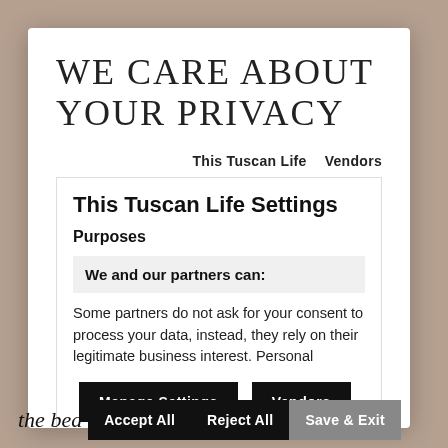WE CARE ABOUT YOUR PRIVACY
This Tuscan Life   Vendors
This Tuscan Life Settings
Purposes
We and our partners can:
Some partners do not ask for your consent to process your data, instead, they rely on their legitimate business interest. Personal
Manage Settings   Vendors
the bea  Accept All   Reject All   ichsave & Exttly.